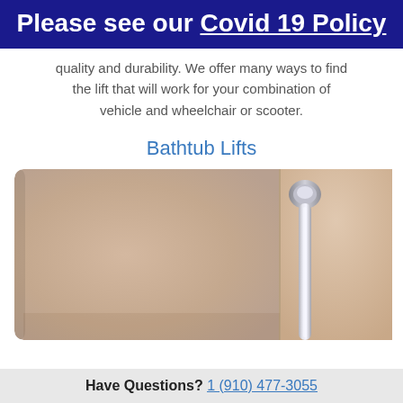Please see our Covid 19 Policy
quality and durability. We offer many ways to find the lift that will work for your combination of vehicle and wheelchair or scooter.
Bathtub Lifts
[Figure (photo): Close-up photo of a bathtub interior with a chrome handheld showerhead/grab bar fixture, tan/beige walls]
Have Questions? 1 (910) 477-3055